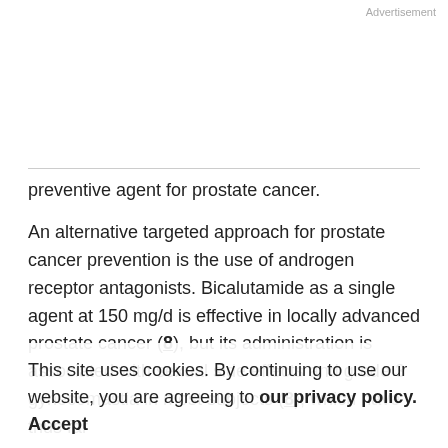Advertisement
preventive agent for prostate cancer.
An alternative targeted approach for prostate cancer prevention is the use of androgen receptor antagonists. Bicalutamide as a single agent at 150 mg/d is effective in locally advanced prostate cancer (8), but its administration is associated with sexual side effects and grade 3 gynecomastia in most subjects (8), which have thus far prevented its assessment in chemoprevention. However, bicalutamide has a prolonged absorption and half-life (~7 days; 9) and its serum concentration after a single 50 mg dose is nearly 0.8 μg/mL, a value in the range of
This site uses cookies. By continuing to use our website, you are agreeing to our privacy policy.
Accept